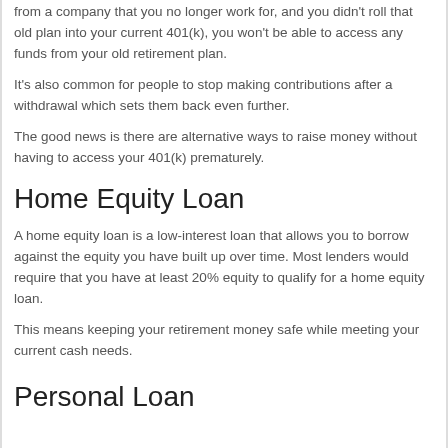from a company that you no longer work for, and you didn't roll that old plan into your current 401(k), you won't be able to access any funds from your old retirement plan.
It's also common for people to stop making contributions after a withdrawal which sets them back even further.
The good news is there are alternative ways to raise money without having to access your 401(k) prematurely.
Home Equity Loan
A home equity loan is a low-interest loan that allows you to borrow against the equity you have built up over time. Most lenders would require that you have at least 20% equity to qualify for a home equity loan.
This means keeping your retirement money safe while meeting your current cash needs.
Personal Loan